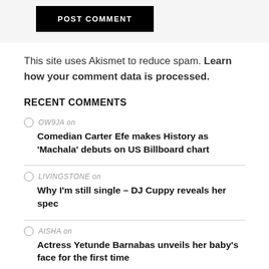POST COMMENT
This site uses Akismet to reduce spam. Learn how your comment data is processed.
RECENT COMMENTS
OW9JA on Comedian Carter Efe makes History as 'Machala' debuts on US Billboard chart
LIVINGSTONE on Why I'm still single – DJ Cuppy reveals her spec
AISHA on Actress Yetunde Barnabas unveils her baby's face for the first time